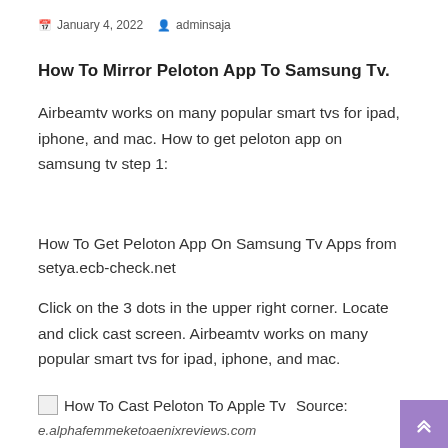January 4, 2022  adminsaja
How To Mirror Peloton App To Samsung Tv.
Airbeamtv works on many popular smart tvs for ipad, iphone, and mac. How to get peloton app on samsung tv step 1:
How To Get Peloton App On Samsung Tv Apps from setya.ecb-check.net
Click on the 3 dots in the upper right corner. Locate and click cast screen. Airbeamtv works on many popular smart tvs for ipad, iphone, and mac.
[Figure (photo): Broken image placeholder with alt text 'How To Cast Peloton To Apple Tv' followed by 'Source:']
e.alphafemmeketoaenixreviews.com